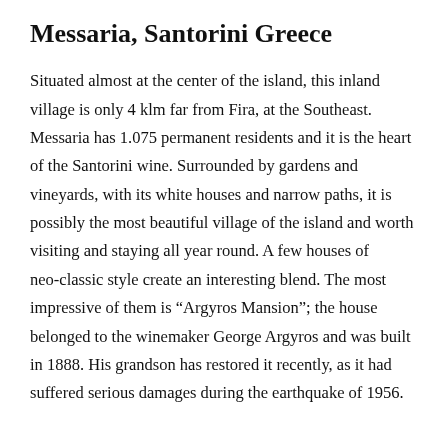Messaria, Santorini Greece
Situated almost at the center of the island, this inland village is only 4 klm far from Fira, at the Southeast. Messaria has 1.075 permanent residents and it is the heart of the Santorini wine. Surrounded by gardens and vineyards, with its white houses and narrow paths, it is possibly the most beautiful village of the island and worth visiting and staying all year round. A few houses of neo-classic style create an interesting blend. The most impressive of them is “Argyros Mansion”; the house belonged to the winemaker George Argyros and was built in 1888. His grandson has restored it recently, as it had suffered serious damages during the earthquake of 1956.